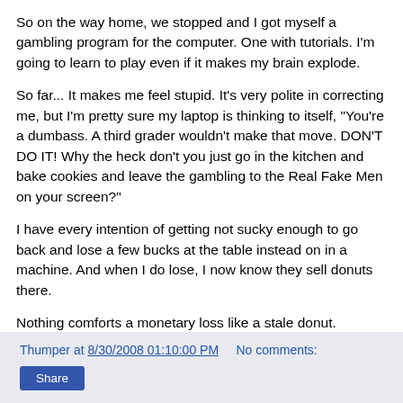So on the way home, we stopped and I got myself a gambling program for the computer. One with tutorials. I'm going to learn to play even if it makes my brain explode.
So far... It makes me feel stupid. It's very polite in correcting me, but I'm pretty sure my laptop is thinking to itself, "You're a dumbass. A third grader wouldn't make that move. DON'T DO IT! Why the heck don't you just go in the kitchen and bake cookies and leave the gambling to the Real Fake Men on your screen?"
I have every intention of getting not sucky enough to go back and lose a few bucks at the table instead on in a machine. And when I do lose, I now know they sell donuts there.
Nothing comforts a monetary loss like a stale donut.
Thumper at 8/30/2008 01:10:00 PM   No comments: